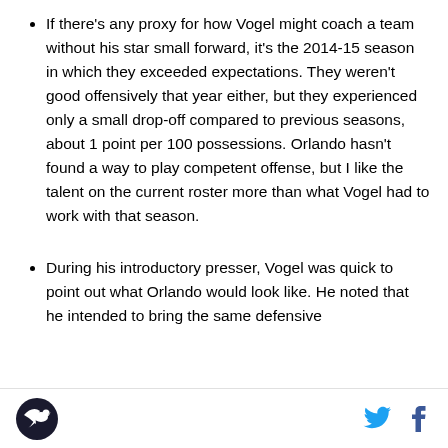If there's any proxy for how Vogel might coach a team without his star small forward, it's the 2014-15 season in which they exceeded expectations. They weren't good offensively that year either, but they experienced only a small drop-off compared to previous seasons, about 1 point per 100 possessions. Orlando hasn't found a way to play competent offense, but I like the talent on the current roster more than what Vogel had to work with that season.
During his introductory presser, Vogel was quick to point out what Orlando would look like. He noted that he intended to bring the same defensive
[logo] [twitter] [facebook]